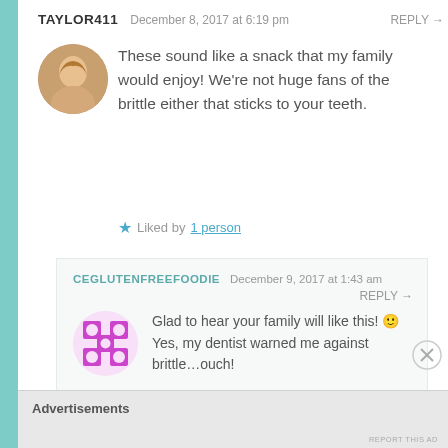TAYLOR411   December 8, 2017 at 6:19 pm   REPLY →
These sound like a snack that my family would enjoy! We're not huge fans of the brittle either that sticks to your teeth.
★ Liked by 1 person
CEGLUTENFREEFOODIE   December 9, 2017 at 1:43 am   REPLY →
Glad to hear your family will like this! 🙂 Yes, my dentist warned me against brittle…ouch!
Advertisements